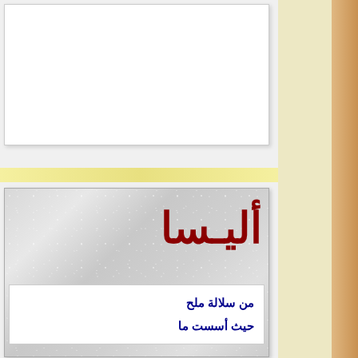[Figure (illustration): White card/panel at top left, partially visible]
[Figure (illustration): Silver/metallic textured card with large bold Arabic text 'أليسا' in dark red at top right, and partially visible Arabic text below in a white sub-box reading 'من سلالة ملح' and 'حيث أسست ما', with a watermark-style italic text overlay]
أليسا
من سلالة ملح
حيث أسست ما